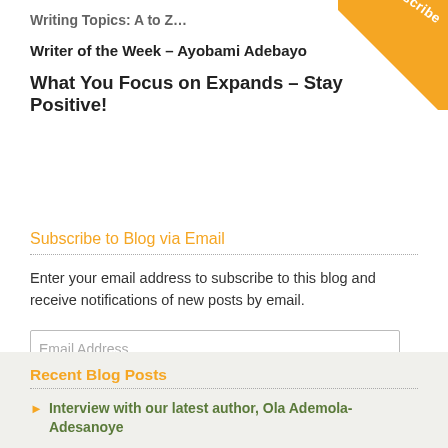Writer of the Week – Ayobami Adebayo
What You Focus on Expands – Stay Positive!
Subscribe to Blog via Email
Enter your email address to subscribe to this blog and receive notifications of new posts by email.
Recent Blog Posts
Interview with our latest author, Ola Ademola-Adesanoye